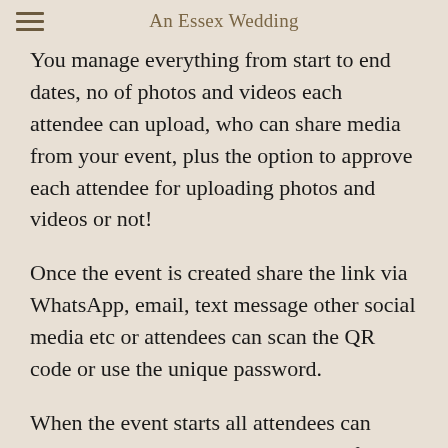An Essex Wedding
You manage everything from start to end dates, no of photos and videos each attendee can upload, who can share media from your event, plus the option to approve each attendee for uploading photos and videos or not!
Once the event is created share the link via WhatsApp, email, text message other social media etc or attendees can scan the QR code or use the unique password.
When the event starts all attendees can easily upload and share their media, for everyone to view and enjoy. Either by using the camera feature or upload multiple photos and videos from their phone gallery WeSnapThat removes the hassle of chasing people